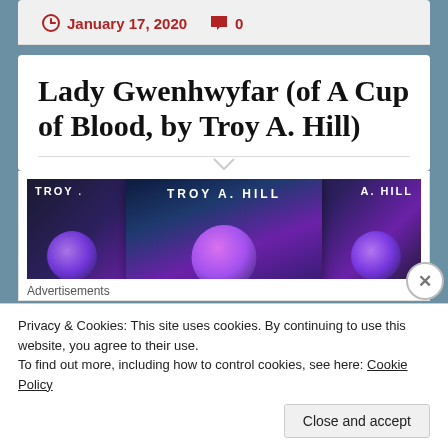January 17, 2020   0
Lady Gwenhwyfar (of A Cup of Blood, by Troy A. Hill)
[Figure (photo): Three book covers by Troy A. Hill, showing dark fantasy artwork with glowing orbs on dark backgrounds]
Advertisements
Privacy & Cookies: This site uses cookies. By continuing to use this website, you agree to their use.
To find out more, including how to control cookies, see here: Cookie Policy
Close and accept